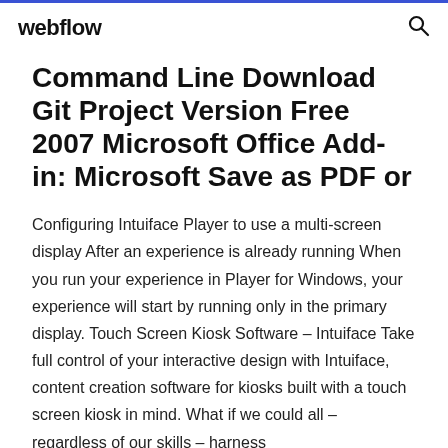webflow
Command Line Download Git Project Version Free 2007 Microsoft Office Add-in: Microsoft Save as PDF or
Configuring Intuiface Player to use a multi-screen display After an experience is already running When you run your experience in Player for Windows, your experience will start by running only in the primary display. Touch Screen Kiosk Software – Intuiface Take full control of your interactive design with Intuiface, content creation software for kiosks built with a touch screen kiosk in mind. What if we could all – regardless of our skills – harness